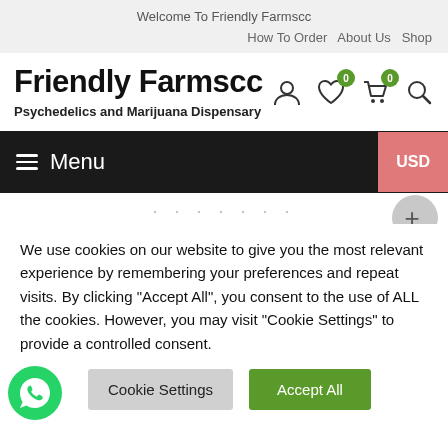Welcome To Friendly Farmscc
How To Order  About Us  Shop
Friendly Farmscc
Psychedelics and Marijuana Dispensary
≡  Menu
USD
We use cookies on our website to give you the most relevant experience by remembering your preferences and repeat visits. By clicking "Accept All", you consent to the use of ALL the cookies. However, you may visit "Cookie Settings" to provide a controlled consent.
Cookie Settings
Accept All